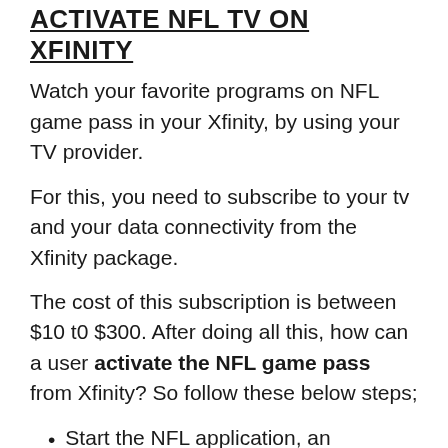ACTIVATE NFL TV ON XFINITY
Watch your favorite programs on NFL game pass in your Xfinity, by using your TV provider.
For this, you need to subscribe to your tv and your data connectivity from the Xfinity package.
The cost of this subscription is between $10 t0 $300. After doing all this, how can a user activate the NFL game pass from Xfinity? So follow these below steps;
Start the NFL application, an activation code will disappear on the screen.